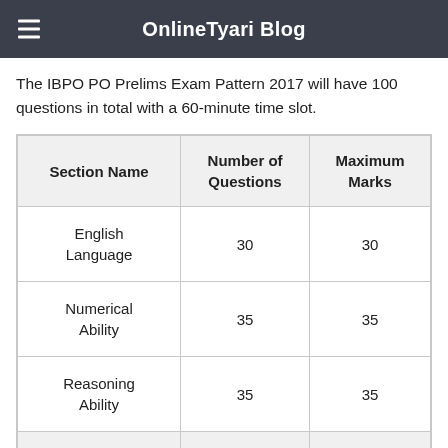OnlineTyari Blog
The IBPO PO Prelims Exam Pattern 2017 will have 100 questions in total with a 60-minute time slot.
| Section Name | Number of Questions | Maximum Marks |
| --- | --- | --- |
| English Language | 30 | 30 |
| Numerical Ability | 35 | 35 |
| Reasoning Ability | 35 | 35 |
| Total | 100 | 100 |